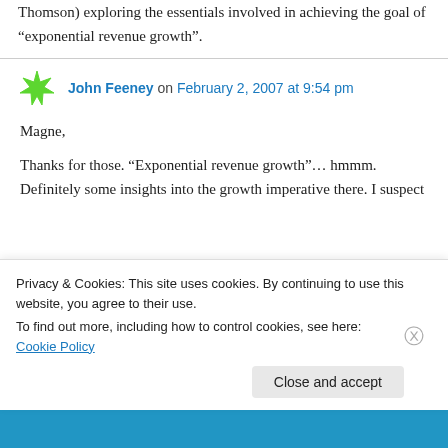Thomson) exploring the essentials involved in achieving the goal of “exponential revenue growth”.
John Feeney on February 2, 2007 at 9:54 pm
Magne,
Thanks for those. “Exponential revenue growth”… hmmm. Definitely some insights into the growth imperative there. I suspect
Privacy & Cookies: This site uses cookies. By continuing to use this website, you agree to their use.
To find out more, including how to control cookies, see here: Cookie Policy
Close and accept